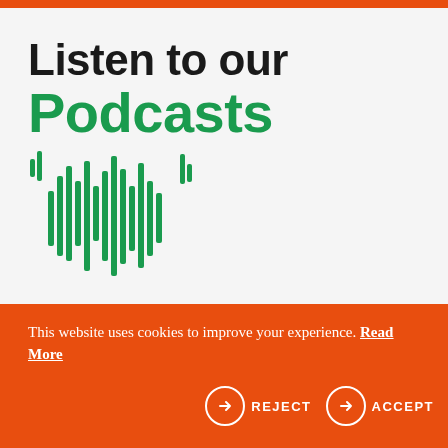Listen to our Podcasts
[Figure (illustration): Green audio waveform / sound wave graphic shaped like a heartbeat monitor pattern, representing podcast audio visualization.]
This website uses cookies to improve your experience. Read More  → REJECT  → ACCEPT